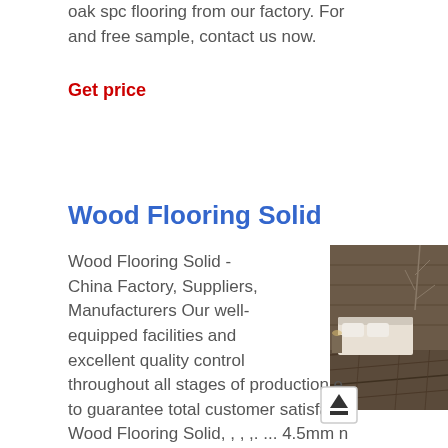oak spc flooring from our factory. For and free sample, contact us now.
Get price
Wood Flooring Solid
Wood Flooring Solid - China Factory, Suppliers, Manufacturers Our well-equipped facilities and excellent quality control throughout all stages of production e to guarantee total customer satisfact Wood Flooring Solid, , , ,. ... 4.5mm click vinyl flooring Spc . laminate floo parquet colours. . Circular saw
[Figure (photo): Bedroom interior with wood flooring, bed with white bedding, and bare branch decoration against wood-paneled wall]